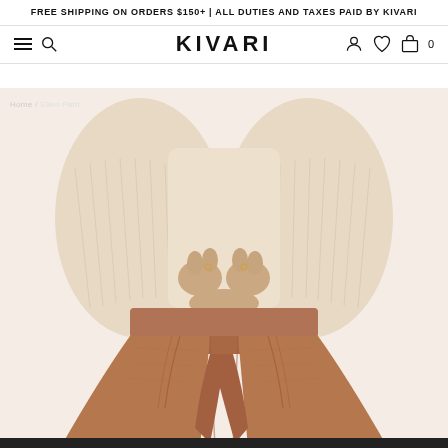FREE SHIPPING ON ORDERS $150+ | ALL DUTIES AND TAXES PAID BY KIVARI
KIVARI
Home / Ellen Pant
[Figure (photo): Model wearing terracotta/rust colored wide-leg linen pants with a front tie/belt detail, paired with a cream ribbed knit cropped sweater. Only the torso and legs are visible. Warm beige background.]